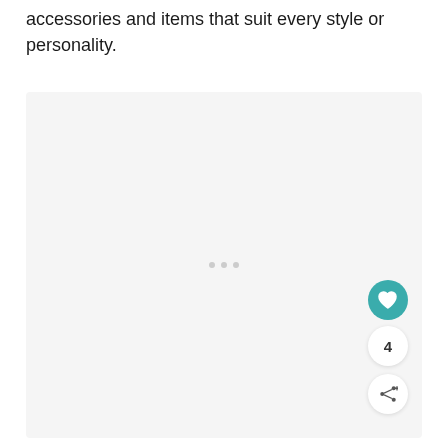accessories and items that suit every style or personality.
[Figure (photo): Large light grey placeholder image area with three small grey dots in the center, a teal heart button, a count badge showing 4, and a share button in the lower right corner.]